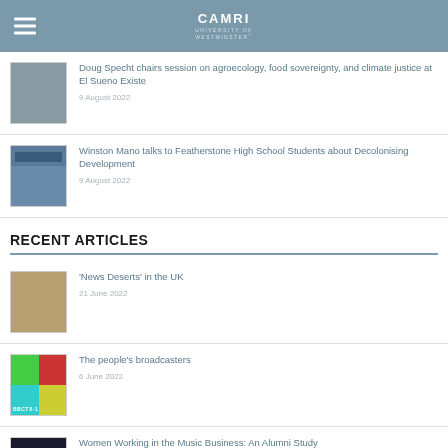CAMRI — University of Westminster
Doug Specht chairs session on agroecology, food sovereignty, and climate justice at El Sueno Existe — 9 August 2022
Winston Mano talks to Featherstone High School Students about Decolonising Development — 9 August 2022
RECENT ARTICLES
'News Deserts' in the UK — 21 June 2022
The people's broadcasters — 6 June 2022
Women Working in the Music Business: An Alumni Study — 19 May 2022